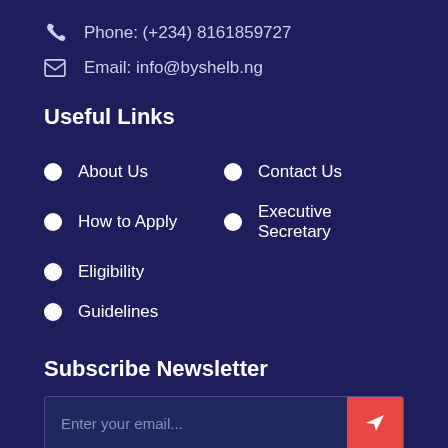Phone: (+234) 8161859727
Email: info@byshelb.ng
Useful Links
About Us
Contact Us
How to Apply
Executive Secretary
Eligibility
Guidelines
Subscribe Newsletter
Enter your email...